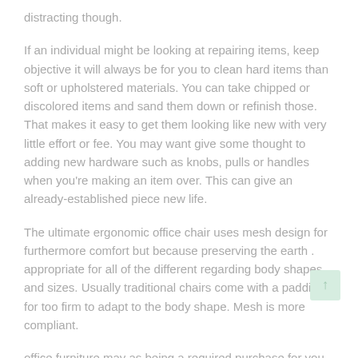distracting though.
If an individual might be looking at repairing items, keep objective it will always be for you to clean hard items than soft or upholstered materials. You can take chipped or discolored items and sand them down or refinish those. That makes it easy to get them looking like new with very little effort or fee. You may want give some thought to adding new hardware such as knobs, pulls or handles when you're making an item over. This can give an already-established piece new life.
The ultimate ergonomic office chair uses mesh design for furthermore comfort but because preserving the earth . appropriate for all of the different regarding body shapes and sizes. Usually traditional chairs come with a padding for too firm to adapt to the body shape. Mesh is more compliant.
office furniture may as being a required purchase for you